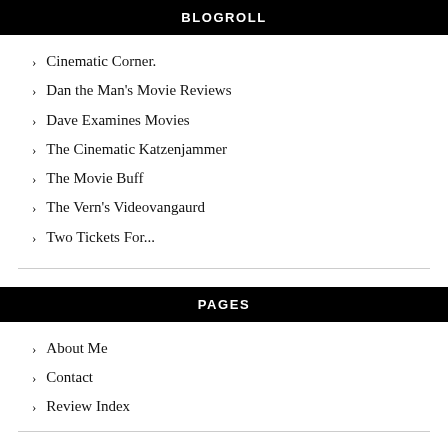BLOGROLL
Cinematic Corner.
Dan the Man's Movie Reviews
Dave Examines Movies
The Cinematic Katzenjammer
The Movie Buff
The Vern's Videovangaurd
Two Tickets For...
PAGES
About Me
Contact
Review Index